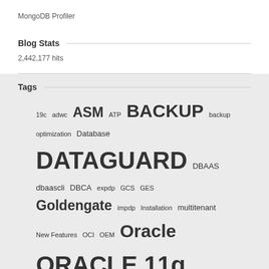MongoDB Profiler
Blog Stats
2,442,177 hits
Tags
19c adwc ASM ATP BACKUP backup optimization Database DATAGUARD DBAAS dbaascli DBCA expdp GCS GES Goldengate impdp Installation multitenant New Features OCI OEM Oracle ORACLE 11g ORACLE 12.2 Oracle12c ORACLE 12C ORACLE 12C2 ORACLE 12CR2 Oracle 18c ORACLE CLOUD